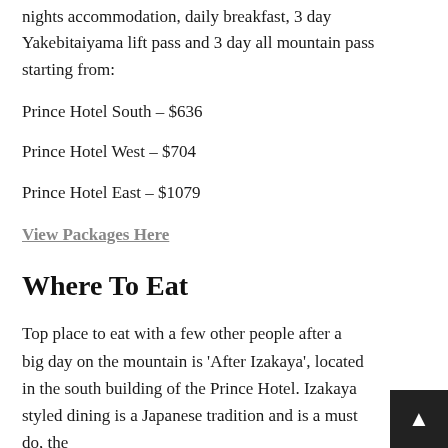nights accommodation, daily breakfast, 3 day Yakebitaiyama lift pass and 3 day all mountain pass starting from:
Prince Hotel South – $636
Prince Hotel West – $704
Prince Hotel East – $1079
View Packages Here
Where To Eat
Top place to eat with a few other people after a big day on the mountain is 'After Izakaya', located in the south building of the Prince Hotel. Izakaya styled dining is a Japanese tradition and is a must do, the